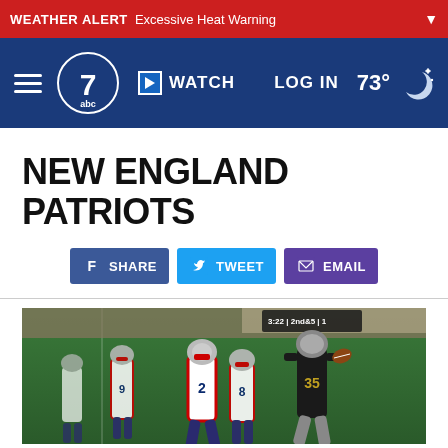WEATHER ALERT Excessive Heat Warning
abc7 WATCH LOG IN 73°
NEW ENGLAND PATRIOTS
SHARE TWEET EMAIL
[Figure (photo): Football game action shot showing Raiders player #35 running with the ball against New England Patriots defenders #2, #8, #9 on a green field. Scoreboard visible in background showing 3:22 2nd&5 1.]